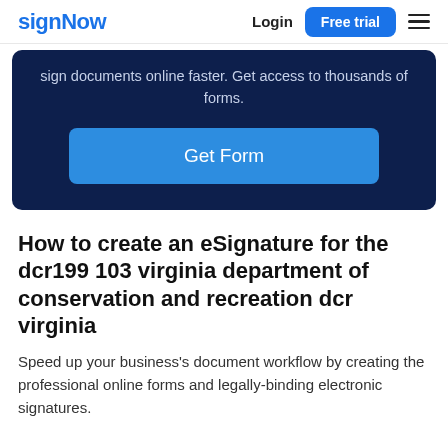signNow | Login | Free trial
sign documents online faster. Get access to thousands of forms.
[Figure (other): Dark navy blue hero banner with a 'Get Form' button]
How to create an eSignature for the dcr199 103 virginia department of conservation and recreation dcr virginia
Speed up your business's document workflow by creating the professional online forms and legally-binding electronic signatures.